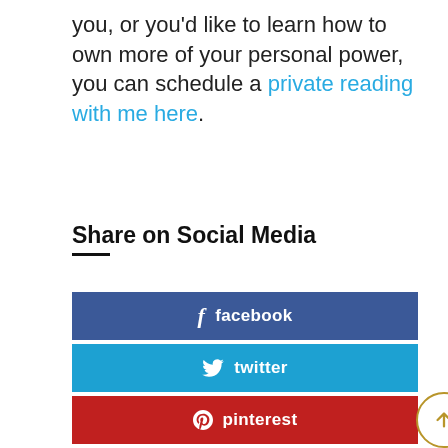you, or you'd like to learn how to own more of your personal power, you can schedule a private reading with me here.
Share on Social Media
[Figure (infographic): Social media share buttons for facebook, twitter, pinterest, and linkedin, plus a scroll-to-top button]